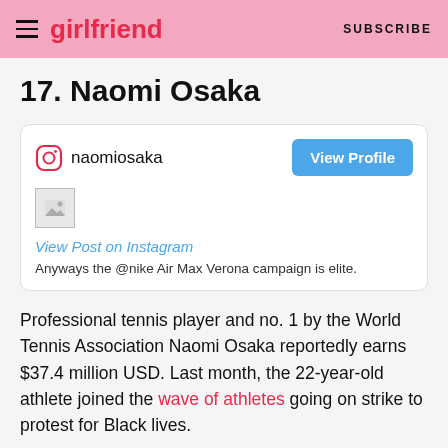girlfriend | SUBSCRIBE
17. Naomi Osaka
[Figure (screenshot): Instagram embed card for naomiosaka with a 'View Profile' button, a broken image placeholder, a 'View Post on Instagram' link, and caption text: 'Anyways the @nike Air Max Verona campaign is elite.']
Professional tennis player and no. 1 by the World Tennis Association Naomi Osaka reportedly earns $37.4 million USD. Last month, the 22-year-old athlete joined the wave of athletes going on strike to protest for Black lives.